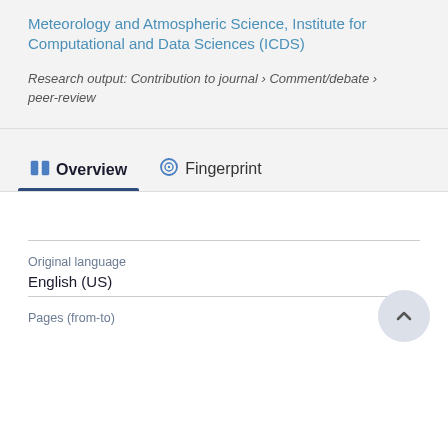Meteorology and Atmospheric Science, Institute for Computational and Data Sciences (ICDS)
Research output: Contribution to journal › Comment/debate › peer-review
Overview
Fingerprint
Original language
English (US)